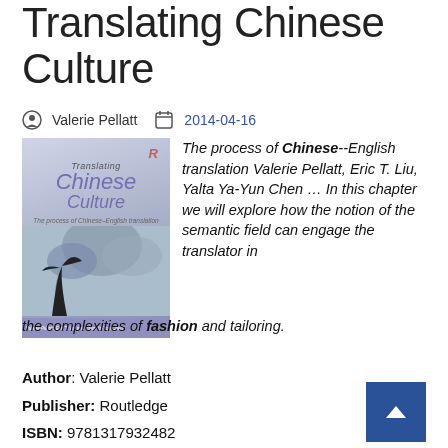Translating Chinese Culture
Valerie Pellatt  2014-04-16
[Figure (illustration): Book cover of 'Translating Chinese Culture: The process of Chinese-English translation' by Valerie Pellatt, Eric T. Liu and Yalta Ya-Yun Chen, published by Routledge. Cover shows Chinese landscape with tree and mountains.]
The process of Chinese--English translation Valerie Pellatt, Eric T. Liu, Yalta Ya-Yun Chen ... In this chapter we will explore how the notion of the semantic field can engage the translator in the complexities of fashion and tailoring.
Author: Valerie Pellatt
Publisher: Routledge
ISBN: 9781317932482